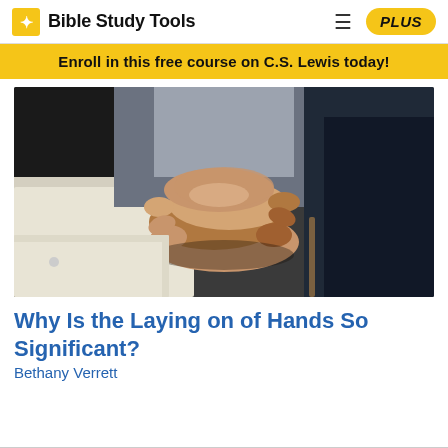Bible Study Tools
Enroll in this free course on C.S. Lewis today!
[Figure (photo): Several people of different races clasping hands together in the center, wearing formal dress shirts and jackets, symbolizing unity and the laying on of hands practice.]
Why Is the Laying on of Hands So Significant?
Bethany Verrett